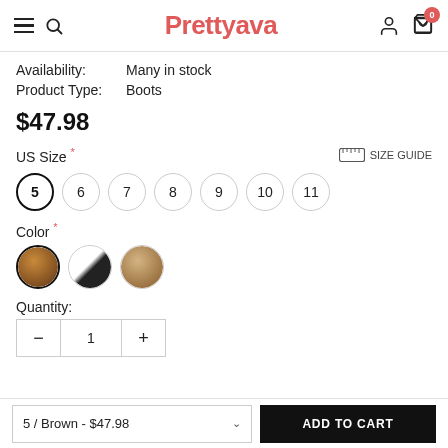Prettyava
Availability: Many in stock
Product Type: Boots
$47.98
US Size *
5 (selected), 6, 7, 8, 9, 10, 11
Color *
[Figure (other): Three color swatch circles: brown, black/white, tan]
Quantity:
- 1 +
5 / Brown - $47.98  ADD TO CART